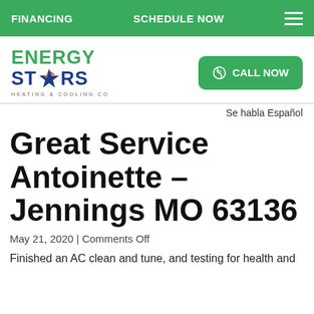FINANCING   SCHEDULE NOW   ≡
[Figure (logo): Energy Stars Heating & Cooling Co logo with star graphic in blue, green and red/orange]
[Figure (other): Green CALL NOW button with phone icon]
Se habla Español
Great Service Antoinette – Jennings MO 63136
May 21, 2020  |  Comments Off
Finished an AC clean and tune, and testing for health and